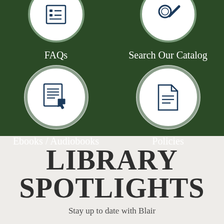[Figure (infographic): Green background section with two rows of icon circles. Top visible row: FAQs icon (list icon) on left, Search Our Catalog icon (magnifying glass) on right. Bottom row: Ebooks / Audiobooks icon (document with hand) on left, Policies icon (document) on right. Each icon is in a white circle with grey border on dark green background.]
FAQs
Search Our Catalog
Ebooks / Audiobooks
Policies
LIBRARY SPOTLIGHTS
Stay up to date with Blair